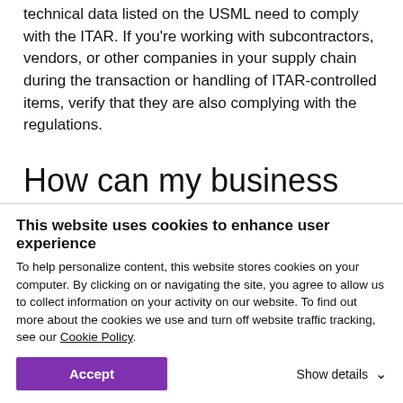technical data listed on the USML need to comply with the ITAR. If you're working with subcontractors, vendors, or other companies in your supply chain during the transaction or handling of ITAR-controlled items, verify that they are also complying with the regulations.
How can my business comply with ITAR?
The ITAR is purposefully vague in order to give the government more flexibility and control over defense...
This website uses cookies to enhance user experience
To help personalize content, this website stores cookies on your computer. By clicking on or navigating the site, you agree to allow us to collect information on your activity on our website. To find out more about the cookies we use and turn off website traffic tracking, see our Cookie Policy.